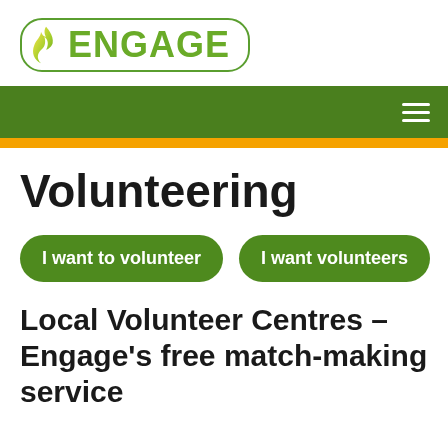[Figure (logo): Engage logo with flame icon and green rounded rectangle border]
Navigation bar with hamburger menu
Volunteering
I want to volunteer
I want volunteers
Local Volunteer Centres – Engage's free match-making service